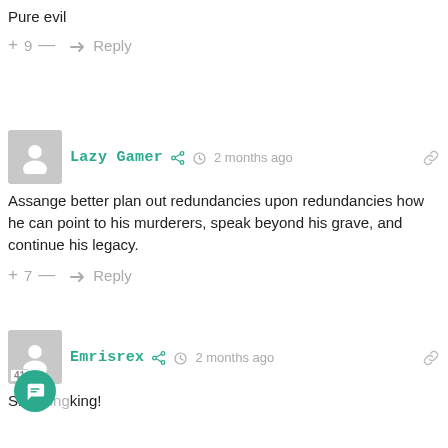Pure evil
+ 9 — → Reply
Lazy Gamer  2 months ago
Assange better plan out redundancies upon redundancies how he can point to his murderers, speak beyond his grave, and continue his legacy.
+ 7 — → Reply
Emrisrex  2 months ago
Shocking!